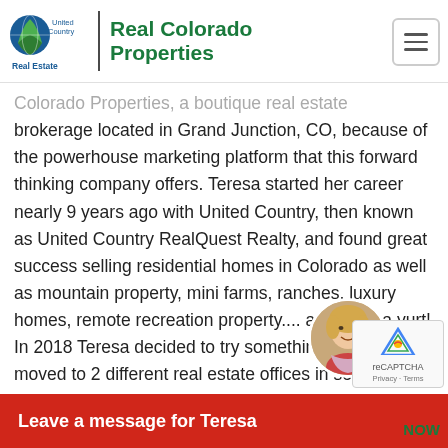[Figure (logo): United Country Real Estate logo with globe/leaf icon]
Real Colorado Properties
Colorado Properties, a boutique real estate brokerage located in Grand Junction, CO, because of the powerhouse marketing platform that this forward thinking company offers. Teresa started her career nearly 9 years ago with United Country, then known as United Country RealQuest Realty, and found great success selling residential homes in Colorado as well as mountain property, mini farms, ranches, luxury homes, remote recreation property.... and even a yurt! In 2018 Teresa decided to try something different, and moved to 2 different real estate offices in search of different opportunites. 13 months later, she returned to United Country Real Colorado Properties. When asked about the moves and why she came back to United Country, Teresa said that their f
[Figure (photo): Headshot of Teresa, a woman with blonde highlights]
Leave a message for Teresa
NOW